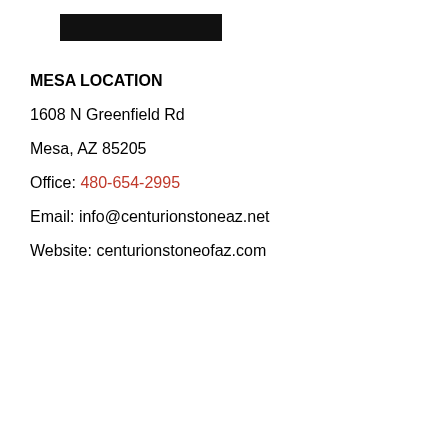[Figure (logo): Dark/black rectangular logo bar]
MESA LOCATION
1608 N Greenfield Rd
Mesa, AZ 85205
Office: 480-654-2995
Email: info@centurionstoneaz.net
Website: centurionstoneofaz.com